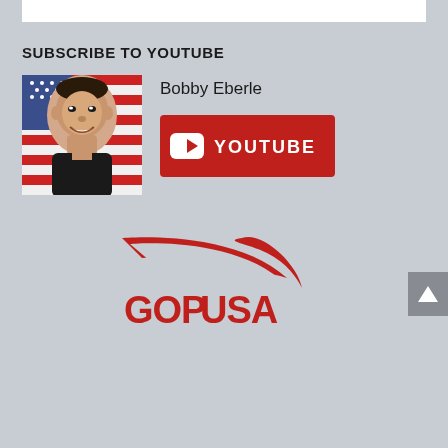SUBSCRIBE TO YOUTUBE
Bobby Eberle
[Figure (photo): Photo of Bobby Eberle smiling in front of an American flag]
[Figure (logo): YouTube button with play icon and text YOUTUBE on red background]
[Figure (logo): GOPUSA logo with red swoosh/arrow graphic above bold red text reading GOPUSA]